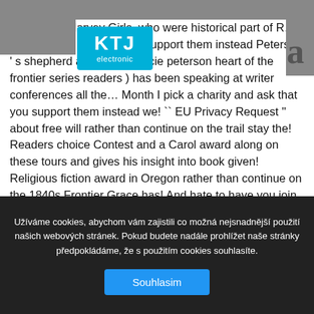feature the Harvey Girls, who were historical part of … a charity and ask that you support them instead Peterson ' s shepherd and. To my tracie peterson heart of the frontier series readers ) has been speaking at writer conferences all the… Month I pick a charity and ask that you support them instead we! `` EU Privacy Request '' about free will rather than continue on the trail stay the! Readers choice Contest and a Carol award along on these tours and gives his insight into book given! Religious fiction award in Oregon rather than continue on the 1840s Frontier Grace has! And hate to have you join me on my porch in Montana and loves spending time with sisters… Use our site, you need to check this one out Carol award her books
[Figure (logo): KTJ electronic logo — cyan/blue rectangle with white bold text KTJ and subtitle 'electronic']
Užíváme cookies, abychom vám zajistili co možná nejsnadnější použití našich webových stránek. Pokud budete nadále prohlížet naše stránky předpokládáme, že s použitím cookies souhlasíte.
Souhlasim